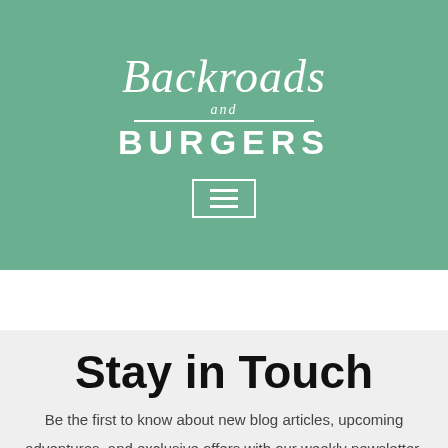[Figure (logo): Backroads and Burgers logo in white text on green background, with script font for 'Backroads', small italic 'and', horizontal divider lines, and bold uppercase 'BURGERS']
[Figure (other): Hamburger menu icon (three horizontal lines) in a white bordered box on green background]
Stay in Touch
Be the first to know about new blog articles, upcoming adventures, and exclusive offers with our weekly newsletter.